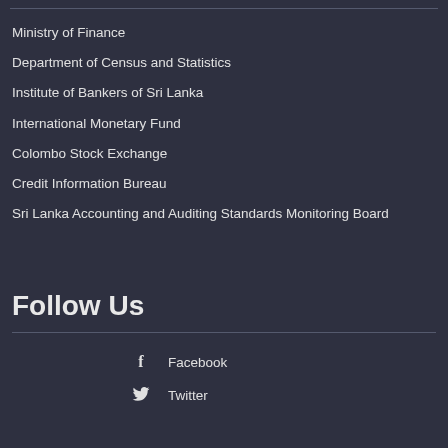Ministry of Finance
Department of Census and Statistics
Institute of Bankers of Sri Lanka
International Monetary Fund
Colombo Stock Exchange
Credit Information Bureau
Sri Lanka Accounting and Auditing Standards Monitoring Board
Follow Us
Facebook
Twitter